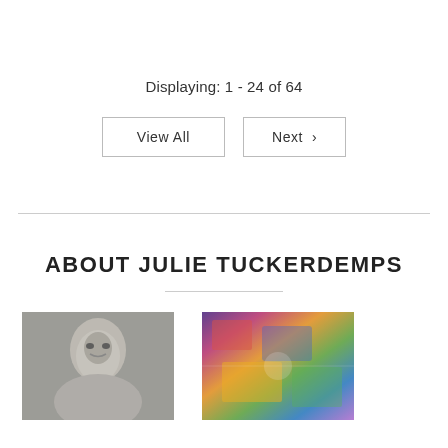Displaying: 1 - 24 of 64
View All  Next ›
ABOUT JULIE TUCKERDEMPS
[Figure (photo): Black and white portrait photo of a woman]
[Figure (photo): Colorful abstract painting with bright mixed colors]